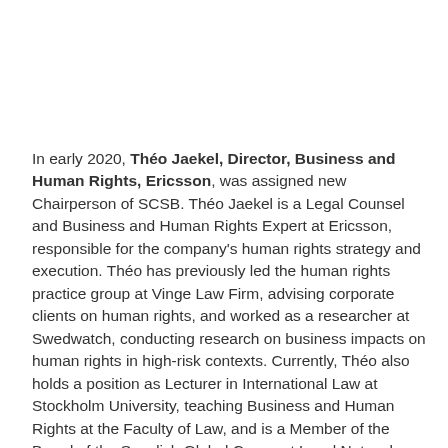In early 2020, Théo Jaekel, Director, Business and Human Rights, Ericsson, was assigned new Chairperson of SCSB. Théo Jaekel is a Legal Counsel and Business and Human Rights Expert at Ericsson, responsible for the company's human rights strategy and execution. Théo has previously led the human rights practice group at Vinge Law Firm, advising corporate clients on human rights, and worked as a researcher at Swedwatch, conducting research on business impacts on human rights in high-risk contexts. Currently, Théo also holds a position as Lecturer in International Law at Stockholm University, teaching Business and Human Rights at the Faculty of Law, and is a Member of the Board of the Swedish Global Compact Local Network.
All members of Sweden-China Trade Council, both large and SME's, with a presence in Sweden are welcome to join SCSB.